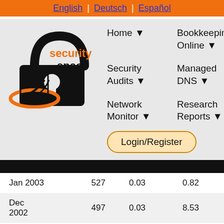English | Deutsch | Español
[Figure (logo): Security Space logo — padlock icon with orange 'security space' text]
Home ▼
Bookkeeping Online ▼
Security Audits ▼
Managed DNS ▼
Network Monitor ▼
Research Reports ▼
Login/Register
| Jan 2003 | 527 | 0.03 | 0.82 |
| Dec 2002 | 497 | 0.03 | 8.53 |
| Nov 2002 | 468 | 0.02 | -10.08 |